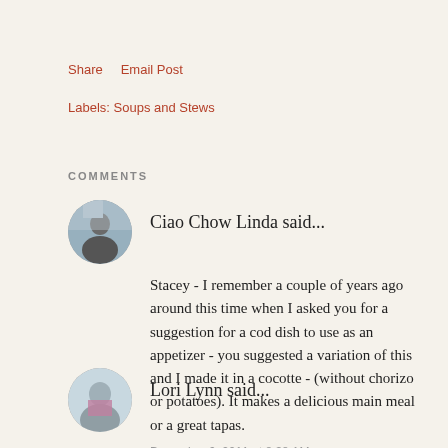Share    Email Post
Labels: Soups and Stews
COMMENTS
Ciao Chow Linda said...
Stacey - I remember a couple of years ago around this time when I asked you for a suggestion for a cod dish to use as an appetizer - you suggested a variation of this and I made it in a cocotte - (without chorizo or potatoes). It makes a delicious main meal or a great tapas.
December 6, 2011 at 8:38 AM
Lori Lynn said...
That sounds good. I like the olive addition. And yes on the chorizo.